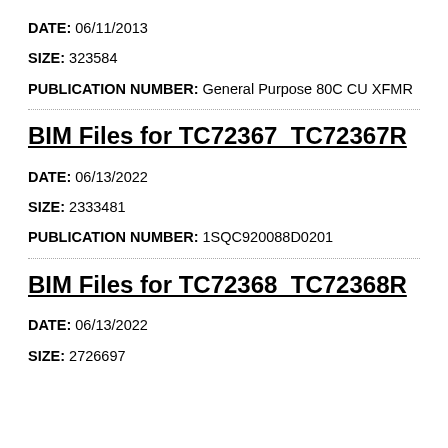DATE: 06/11/2013
SIZE: 323584
PUBLICATION NUMBER: General Purpose 80C CU XFMR
BIM Files for TC72367_TC72367R
DATE: 06/13/2022
SIZE: 2333481
PUBLICATION NUMBER: 1SQC920088D0201
BIM Files for TC72368_TC72368R
DATE: 06/13/2022
SIZE: 2726697